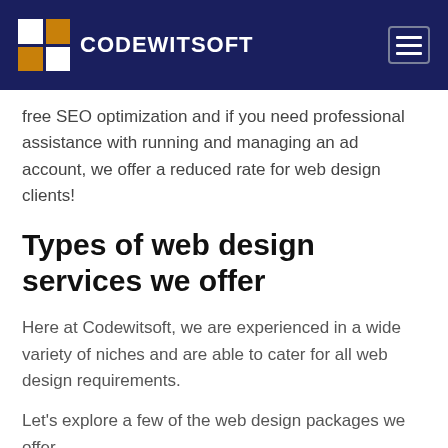CODEWITSOFT
free SEO optimization and if you need professional assistance with running and managing an ad account, we offer a reduced rate for web design clients!
Types of web design services we offer
Here at Codewitsoft, we are experienced in a wide variety of niches and are able to cater for all web design requirements.
Let's explore a few of the web design packages we offer..
[Figure (photo): Broken image placeholder with alt text: website design service wales]